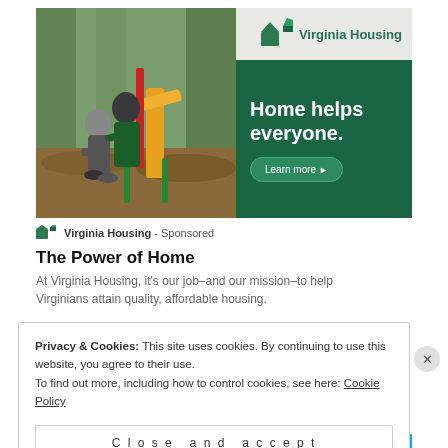[Figure (photo): Advertisement banner for Virginia Housing showing a mother and child playing on a playground slide. Left half shows the photo, right half has a green background with 'Virginia Housing' logo in the top-right white/gray section, and bold white text 'Home helps everyone.' with a 'Learn more' button on the green section.]
Virginia Housing - Sponsored
The Power of Home
At Virginia Housing, it's our job–and our mission–to help Virginians attain quality, affordable housing.
Privacy & Cookies: This site uses cookies. By continuing to use this website, you agree to their use.
To find out more, including how to control cookies, see here: Cookie Policy
Close and accept